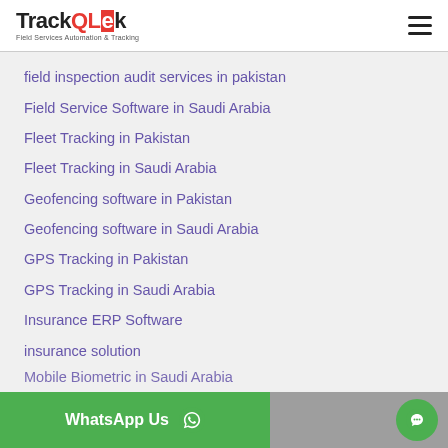TrackQLek — Field Services Automation & Tracking
field inspection audit services in pakistan
Field Service Software in Saudi Arabia
Fleet Tracking in Pakistan
Fleet Tracking in Saudi Arabia
Geofencing software in Pakistan
Geofencing software in Saudi Arabia
GPS Tracking in Pakistan
GPS Tracking in Saudi Arabia
Insurance ERP Software
insurance solution
Mobile Attendance in Saudi Arabia
Mobile Biometric in Pakistan
Mobile Biometric in Saudi Arabia
WhatsApp Us